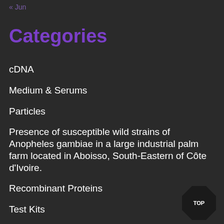« Jun
Categories
cDNA
Medium & Serums
Particles
Presence of susceptible wild strains of Anopheles gambiae in a large industrial palm farm located in Aboisso, South-Eastern of Côte d'Ivoire.
Recombinant Proteins
Test Kits
Uncategorized
Vector & Virus
Western Blot